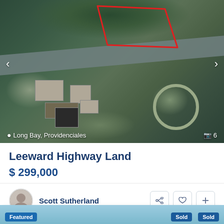[Figure (photo): Aerial satellite view of land parcel in Long Bay, Providenciales with red outline marking property boundary. Shows road, trees, and nearby buildings.]
Long Bay, Providenciales · 6 photos
Leeward Highway Land
$ 299,000
Looking for a great multi purpose land acquisition? Here you go, this 0.83 acre Leeward Hi ...
Scott Sutherland
Listings
Map View
Featured
Sold
Sold